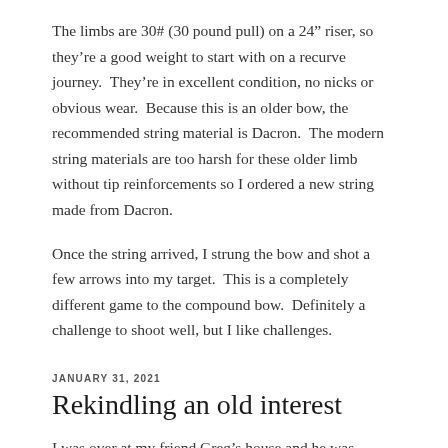The limbs are 30# (30 pound pull) on a 24" riser, so they're a good weight to start with on a recurve journey.  They're in excellent condition, no nicks or obvious wear.  Because this is an older bow, the recommended string material is Dacron.  The modern string materials are too harsh for these older limb without tip reinforcements so I ordered a new string made from Dacron.
Once the string arrived, I strung the bow and shot a few arrows into my target.  This is a completely different game to the compound bow.  Definitely a challenge to shoot well, but I like challenges.
JANUARY 31, 2021
Rekindling an old interest
I was over at my friend Greg's house and he was